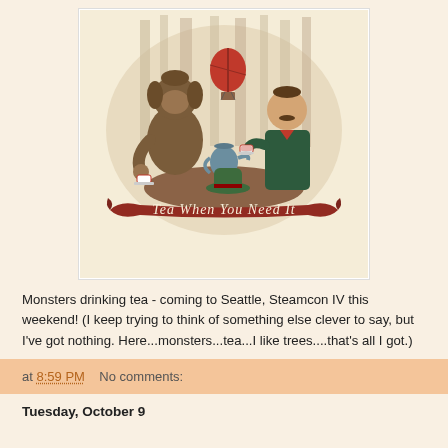[Figure (illustration): Illustration of a Bigfoot-like creature and a Victorian gentleman sitting at a table drinking tea together, with a red hot air balloon in the background and trees. A red banner ribbon at the bottom reads 'Tea When You Need It' in cursive script. The image is framed in an oval shape on a cream background.]
Monsters drinking tea - coming to Seattle, Steamcon IV this weekend!  (I keep trying to think of something else clever to say, but I've got nothing.  Here...monsters...tea...I like trees....that's all I got.)
at 8:59 PM   No comments:
Tuesday, October 9